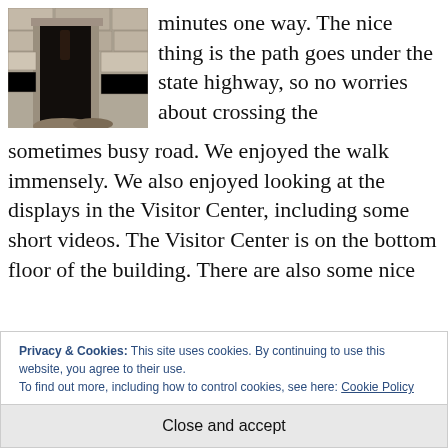[Figure (photo): Photo of an old stone wall or building structure with a dark door or gate, partially showing some stones and worn surfaces.]
minutes one way. The nice thing is the path goes under the state highway, so no worries about crossing the sometimes busy road. We enjoyed the walk immensely. We also enjoyed looking at the displays in the Visitor Center, including some short videos. The Visitor Center is on the bottom floor of the building. There are also some nice
Privacy & Cookies: This site uses cookies. By continuing to use this website, you agree to their use.
To find out more, including how to control cookies, see here: Cookie Policy
Close and accept